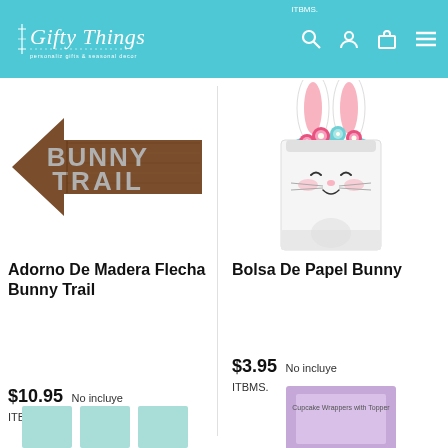Gifty Things — ITBMS.
[Figure (photo): Wooden arrow-shaped sign with text BUNNY TRAIL in silver/grey letters on a brown wood-grain background, pointing left.]
Adorno De Madera Flecha Bunny Trail
$10.95 No incluye ITBMS.
[Figure (illustration): White paper gift bag shaped like a cute bunny face with pink ears, floral crown of pink and teal flowers, rosy cheeks, whiskers, and a smiling face.]
Bolsa De Papel Bunny
$3.95 No incluye ITBMS.
[Figure (photo): Partial view of teal/mint colored product at bottom left, partially cut off.]
[Figure (photo): Partial view of purple packaged product labeled 'Cupcake Wrappers with Topper' at bottom right, partially cut off.]